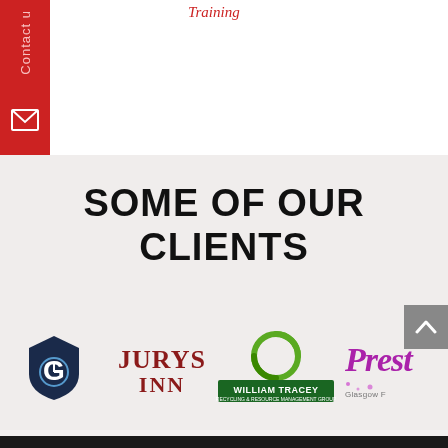Training
Contact us
SOME OF OUR CLIENTS
[Figure (logo): G-shaped shield logo (dark blue)]
[Figure (logo): Jurys Inn logo in dark red serif font]
[Figure (logo): William Tracey Recycling & Resource Management Group logo with green circular arrow]
[Figure (logo): Prestige Glasgow logo in purple script font, partially cropped]